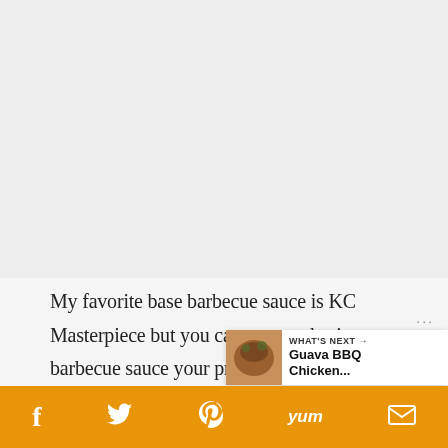[Figure (photo): Light gray placeholder area representing a food photo (top of page)]
My favorite base barbecue sauce is KC Masterpiece but you can use any basic barbecue sauce your prefer.  Also I like to use guava preserves because they melt smooth into the sauce but if you can't find it you can substitute guava paste, howeve
[Figure (infographic): Floating right-side action buttons: heart icon (dark circle) with count 162 below, and share icon (white circle with share symbol)]
[Figure (infographic): WHAT'S NEXT → Guava BBQ Chicken... banner with thumbnail image at bottom right]
[Figure (infographic): Orange social sharing bar at bottom with Facebook, Twitter, Pinterest, Yummly, and email icons]